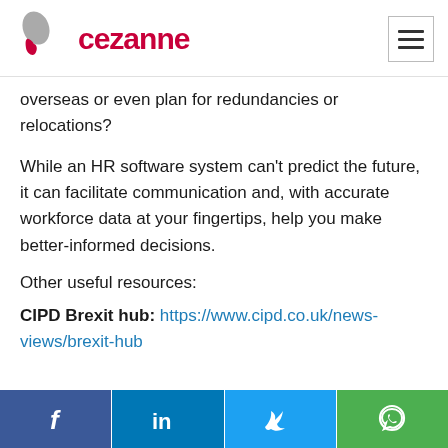[Figure (logo): Cezanne HR logo with stylized leaf/teardrop icon in grey and red, followed by the text 'cezanne' in red bold font]
overseas or even plan for redundancies or relocations?
While an HR software system can't predict the future, it can facilitate communication and, with accurate workforce data at your fingertips, help you make better-informed decisions.
Other useful resources:
CIPD Brexit hub: https://www.cipd.co.uk/news-views/brexit-hub
[Figure (infographic): Social share bar at the bottom with four buttons: Facebook (blue), LinkedIn (blue), Twitter (light blue), WhatsApp (green)]